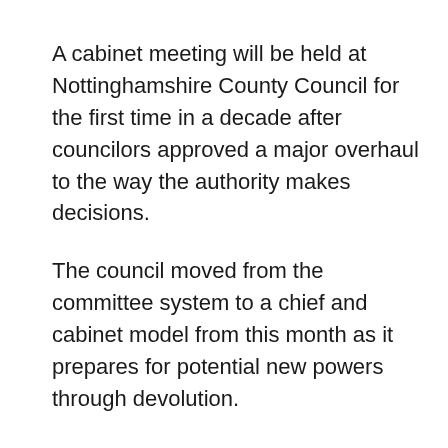A cabinet meeting will be held at Nottinghamshire County Council for the first time in a decade after councilors approved a major overhaul to the way the authority makes decisions.
The council moved from the committee system to a chief and cabinet model from this month as it prepares for potential new powers through devolution.
The decision, taken in March, came 10 years after the authority moved away from the same governance structure in 2012 in what council documents describe as the ‘best suited local